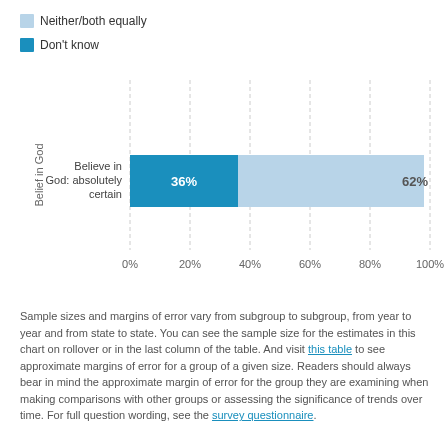[Figure (bar-chart): ]
Sample sizes and margins of error vary from subgroup to subgroup, from year to year and from state to state. You can see the sample size for the estimates in this chart on rollover or in the last column of the table. And visit this table to see approximate margins of error for a group of a given size. Readers should always bear in mind the approximate margin of error for the group they are examining when making comparisons with other groups or assessing the significance of trends over time. For full question wording, see the survey questionnaire.